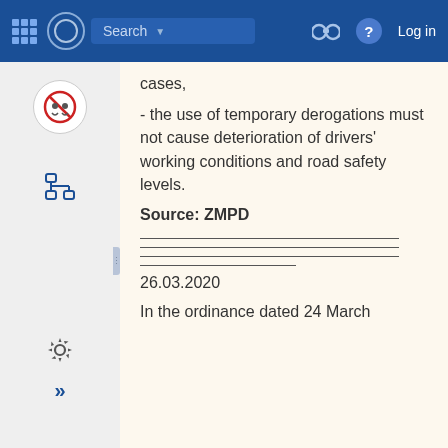Search  Log in
- the use of temporary derogations must not cause deterioration of drivers' working conditions and road safety levels.
Source: ZMPD
26.03.2020
In the ordinance dated 24 March